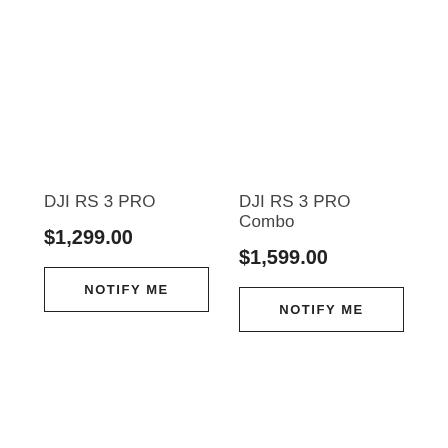DJI RS 3 PRO
$1,299.00
NOTIFY ME
DJI RS 3 PRO Combo
$1,599.00
NOTIFY ME